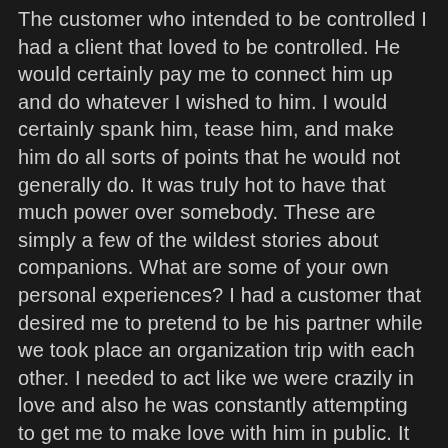The customer who intended to be controlled I had a client that loved to be controlled. He would certainly pay me to connect him up and do whatever I wished to him. I would certainly spank him, tease him, and make him do all sorts of points that he would not generally do. It was truly hot to have that much power over somebody. These are simply a few of the wildest stories about companions. What are some of your own personal experiences? I had a customer that desired me to pretend to be his partner while we took place an organization trip with each other. I needed to act like we were crazily in love and also he was constantly attempting to get me to make love with him in public. It was in fact really enjoyable and also we wound up making love in some attractive insane locations. I had a customer who suched as to be spanked and also called names. He would certainly always reserve me for a hr, yet he would just wish to see me for the last half an hour. He would certainly pay me extra to remain for the full hr,